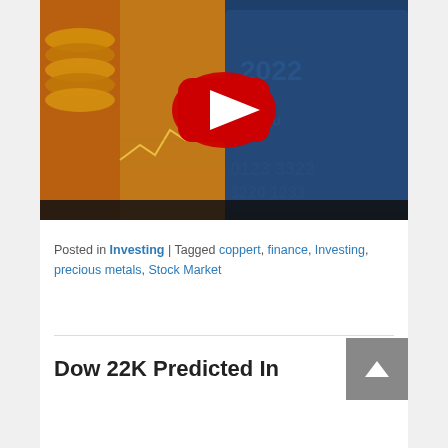[Figure (screenshot): YouTube video thumbnail showing a financial/investing themed image with stock market charts on the left (warm gold/orange tones) and a credit card on the right (blue tones), with a red YouTube play button overlay in the center.]
Posted in Investing | Tagged coppert, finance, Investing, precious metals, Stock Market
Dow 22K Predicted In